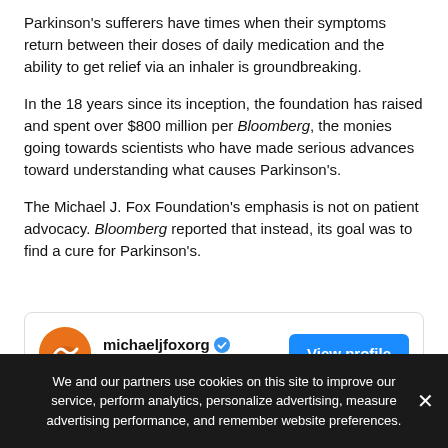Parkinson's sufferers have times when their symptoms return between their doses of daily medication and the ability to get relief via an inhaler is groundbreaking.
In the 18 years since its inception, the foundation has raised and spent over $800 million per Bloomberg, the monies going towards scientists who have made serious advances toward understanding what causes Parkinson's.
The Michael J. Fox Foundation's emphasis is not on patient advocacy. Bloomberg reported that instead, its goal was to find a cure for Parkinson's.
[Figure (screenshot): Instagram profile card for michaeljfoxorg showing 141K followers and a View profile button]
We and our partners use cookies on this site to improve our service, perform analytics, personalize advertising, measure advertising performance, and remember website preferences.